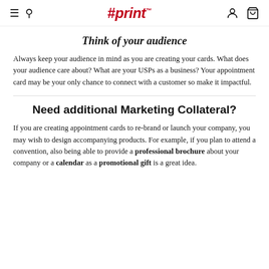#print™
Think of your audience
Always keep your audience in mind as you are creating your cards. What does your audience care about? What are your USPs as a business? Your appointment card may be your only chance to connect with a customer so make it impactful.
Need additional Marketing Collateral?
If you are creating appointment cards to re-brand or launch your company, you may wish to design accompanying products. For example, if you plan to attend a convention, also being able to provide a professional brochure about your company or a calendar as a promotional gift is a great idea.